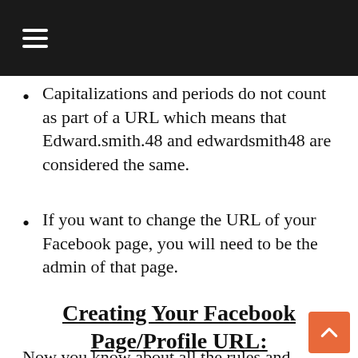☰
Capitalizations and periods do not count as part of a URL which means that Edward.smith.48 and edwardsmith48 are considered the same.
If you want to change the URL of your Facebook page, you will need to be the admin of that page.
Creating Your Facebook Page/Profile URL:
Now you know about all the rules and